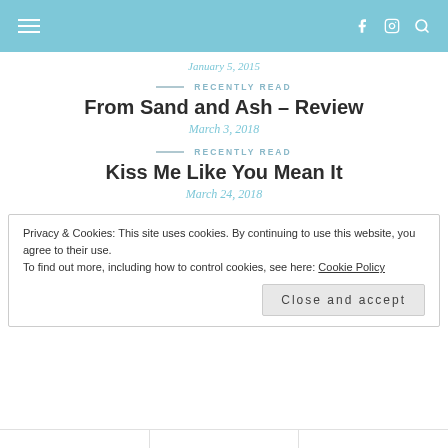≡  f  ⊙  🔍
January 5, 2015
RECENTLY READ
From Sand and Ash – Review
March 3, 2018
RECENTLY READ
Kiss Me Like You Mean It
March 24, 2018
Privacy & Cookies: This site uses cookies. By continuing to use this website, you agree to their use.
To find out more, including how to control cookies, see here: Cookie Policy
Close and accept